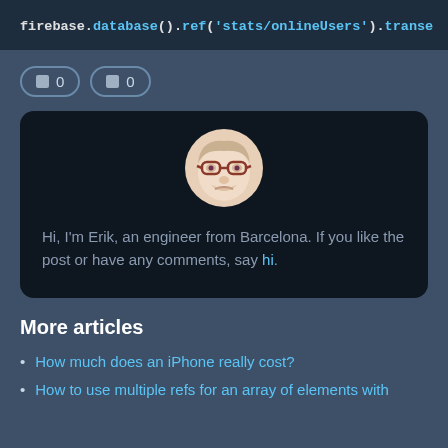firebase.database().ref('stats/onlineUsers').transa
[Figure (screenshot): Two rounded pill-shaped counter badges showing icon and 0 each]
[Figure (photo): Author card with avatar illustration of a person with glasses and text: Hi, I'm Erik, an engineer from Barcelona. If you like the post or have any comments, say hi.]
More articles
How much does an iPhone really cost?
How to use multiple refs for an array of elements with